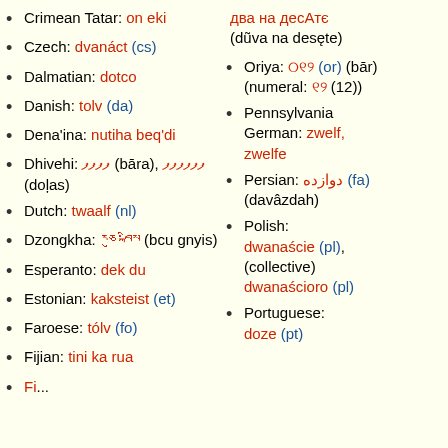Crimean Tatar: on eki
Czech: dvanáct (cs)
Dalmatian: dotco
Danish: tolv (da)
Dena'ina: nutiha beq'di
Dhivehi: [script] (bāra), [script] (doḷas)
Dutch: twaalf (nl)
Dzongkha: [script] (bcu gnyis)
Esperanto: dek du
Estonian: kaksteist (et)
Faroese: tólv (fo)
Fijian: tini ka rua
Finnish: [cut off]
два на десАтє (dũva na desęte)
Oriya: [script] (or) (bār) (numeral: [script] (12))
Pennsylvania German: zwelf, zwelfe
Persian: دوازده (fa) (davâzdah)
Polish: dwanaście (pl), (collective) dwanaścioro (pl)
Portuguese: doze (pt)